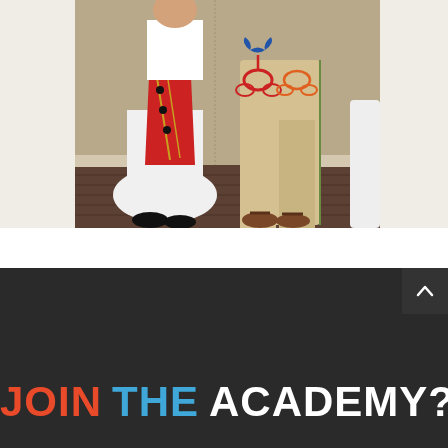[Figure (photo): Two people in traditional folk dance costumes standing indoors. The person on the left wears a white dress with a red embroidered apron and black shoes. The person on the right wears beige pants with colorful floral embroidery in red, blue, and orange, and brown sandals. The background shows a tan/beige wall and wooden floor.]
Y JOIN THE ACADEMY?